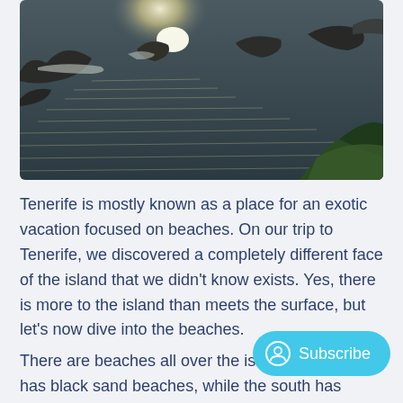[Figure (photo): Aerial/coastal view of rocky shoreline with sunlit choppy ocean waves and some green vegetation in the lower right corner. Dark rocks visible in the water. Bright sun glare on the water surface.]
Tenerife is mostly known as a place for an exotic vacation focused on beaches. On our trip to Tenerife, we discovered a completely different face of the island that we didn't know exists. Yes, there is more to the island than meets the surface, but let's now dive into the beaches.
There are beaches all over the island. The north has black sand beaches, while the south has